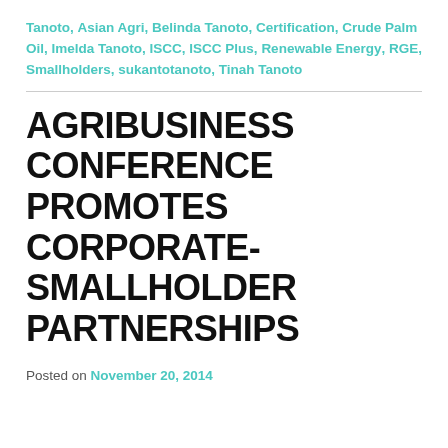Tanoto, Asian Agri, Belinda Tanoto, Certification, Crude Palm Oil, Imelda Tanoto, ISCC, ISCC Plus, Renewable Energy, RGE, Smallholders, sukantotanoto, Tinah Tanoto
AGRIBUSINESS CONFERENCE PROMOTES CORPORATE-SMALLHOLDER PARTNERSHIPS
Posted on November 20, 2014